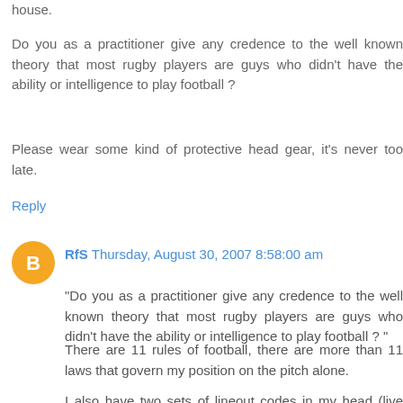house.
Do you as a practitioner give any credence to the well known theory that most rugby players are guys who didn't have the ability or intelligence to play football ?
Please wear some kind of protective head gear, it's never too late.
Reply
RfS  Thursday, August 30, 2007 8:58:00 am
"Do you as a practitioner give any credence to the well known theory that most rugby players are guys who didn't have the ability or intelligence to play football ? "
There are 11 rules of football, there are more than 11 laws that govern my position on the pitch alone.
I also have two sets of lineout codes in my head (live and spare in case the live ones get broken), a set of back row